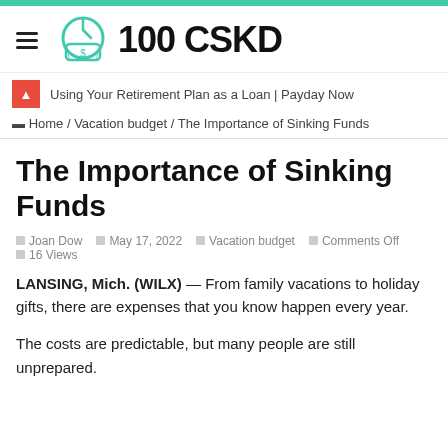100 CSKD
Using Your Retirement Plan as a Loan | Payday Now
Home / Vacation budget / The Importance of Sinking Funds
The Importance of Sinking Funds
Joan Dow   May 17, 2022   Vacation budget   Comments Off   16 Views
LANSING, Mich. (WILX) — From family vacations to holiday gifts, there are expenses that you know happen every year.
The costs are predictable, but many people are still unprepared.